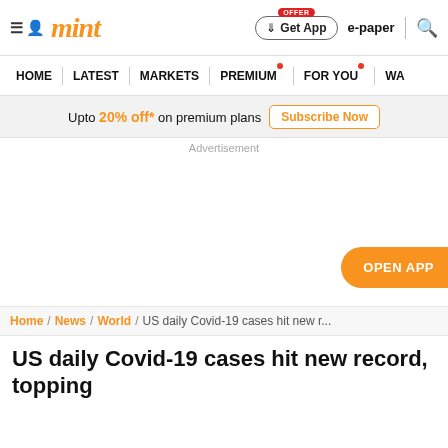mint | Get App | e-paper
HOME | LATEST | MARKETS | PREMIUM | FOR YOU | WA
Upto 20% off* on premium plans  Subscribe Now
Advertisement
[Figure (other): Advertisement blank space with OPEN APP button on the right]
Home / News / World / US daily Covid-19 cases hit new r...
US daily Covid-19 cases hit new record, topping